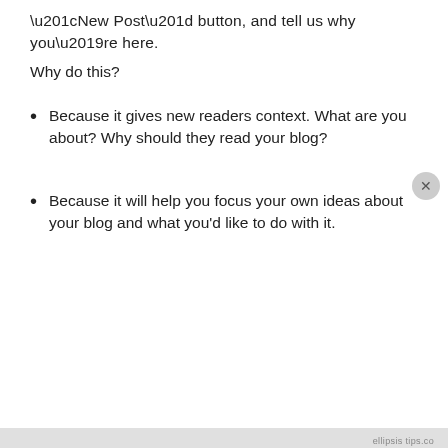“New Post” button, and tell us why you’re here.
Why do this?
Because it gives new readers context. What are you about? Why should they read your blog?
Because it will help you focus your own ideas about your blog and what you’d like to do with it.
Privacy & Cookies: This site uses cookies. By continuing to use this website, you agree to their use.
To find out more, including how to control cookies, see here: Cookie Policy
Close and accept
ellipse tips.co